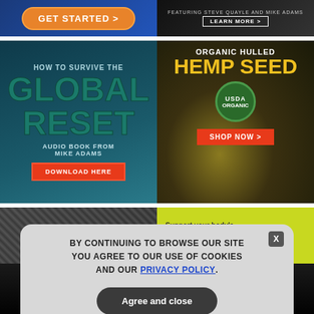[Figure (illustration): GET STARTED > button ad on blue background]
[Figure (illustration): FEATURING STEVE QUAYLE AND MIKE ADAMS - LEARN MORE button on dark background]
[Figure (illustration): HOW TO SURVIVE THE GLOBAL RESET - Audio Book from Mike Adams - DOWNLOAD HERE button on teal background]
[Figure (illustration): ORGANIC HULLED HEMP SEED - USDA ORGANIC badge - SHOP NOW > button on dark background with hemp seeds]
[Figure (photo): Microphone close-up in black and white]
[Figure (illustration): Support your body's natural ability to detox with - on green-yellow background]
GET THE WORLD'S BEST NATURAL HEALTH NEWSLETTER DELIVERED STRAIGHT TO YOUR INBOX
Enter Your Email Address
SUBSCRIBE
BY CONTINUING TO BROWSE OUR SITE YOU AGREE TO OUR USE OF COOKIES AND OUR PRIVACY POLICY.
Agree and close